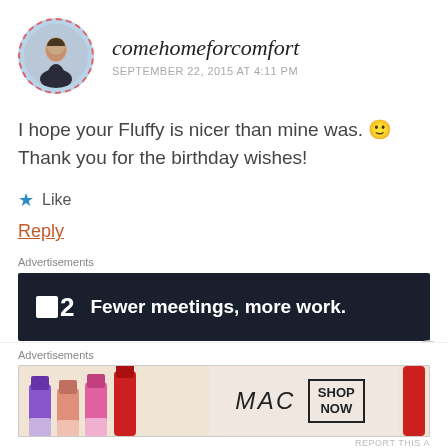[Figure (photo): Avatar photo of a woman in a circular frame with dashed red border]
comehomeforcomfort
SEPTEMBER 22, 2015 AT 4:11 PM
I hope your Fluffy is nicer than mine was. 🙂 Thank you for the birthday wishes!
★ Like
Reply
Advertisements
[Figure (screenshot): Dark advertisement banner for P2 with text: Fewer meetings, more work.]
REPORT THIS AD
Advertisements
[Figure (screenshot): MAC cosmetics advertisement showing colorful lipsticks with MAC logo and SHOP NOW button]